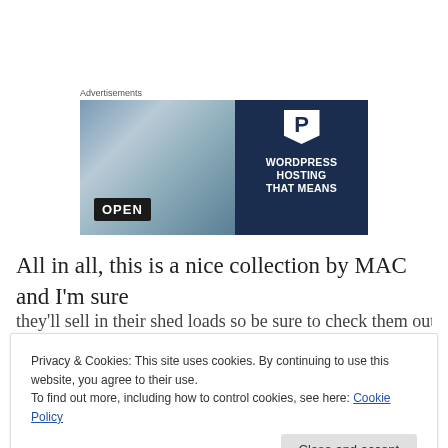Advertisements
[Figure (illustration): WordPress hosting advertisement banner showing a smiling person holding an OPEN sign on the left (photo background), and on the right a dark navy panel with a P logo and text 'WORDPRESS HOSTING THAT MEANS']
All in all, this is a nice collection by MAC and I'm sure
they'll sell in their shed loads so be sure to check them out
Privacy & Cookies: This site uses cookies. By continuing to use this website, you agree to their use.
To find out more, including how to control cookies, see here: Cookie Policy
Close and accept
is a series of a series of MAC Cosmetics which I think I